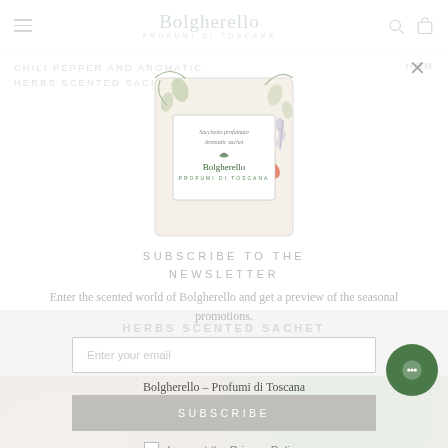Bolgherello – Profumi di Toscana
[Figure (screenshot): Newsletter modal overlay on a product page. Shows a scented sachet product image, 'SUBSCRIBE TO THE NEWSLETTER' heading, descriptive text, email input, subscribe button, and privacy policy checkbox. Background shows 'CHILI PEPPER AND AROMATIC HERBS SCENTED SACHET' product text.]
SUBSCRIBE TO THE NEWSLETTER
Enter the scented world of Bolgherello and get a preview of the seasonal promotions.
Enter your email
SUBSCRIBE
I accept the Privacy Policy.
Bolgherello – Profumi di Toscana
CHILI PEPPER AND AROMATIC HERBS SCENTED SACHET
FROM €2,40